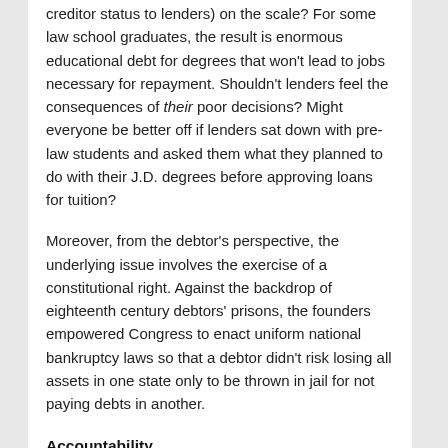creditor status to lenders) on the scale? For some law school graduates, the result is enormous educational debt for degrees that won't lead to jobs necessary for repayment. Shouldn't lenders feel the consequences of their poor decisions? Might everyone be better off if lenders sat down with pre-law students and asked them what they planned to do with their J.D. degrees before approving loans for tuition?
Moreover, from the debtor's perspective, the underlying issue involves the exercise of a constitutional right. Against the backdrop of eighteenth century debtors' prisons, the founders empowered Congress to enact uniform national bankruptcy laws so that a debtor didn't risk losing all assets in one state only to be thrown in jail for not paying debts in another.
Accountability
Perhaps questions of accountability and personal responsibility turn on the characterization of the issue — and who should be accountable to whom. The Wall Street